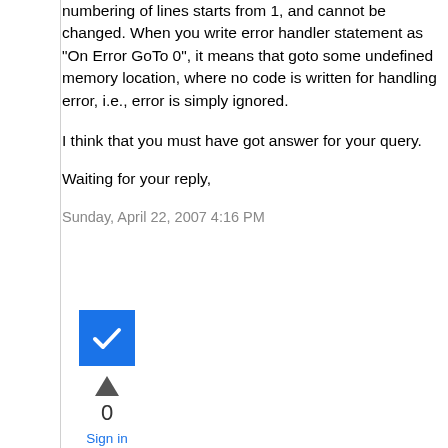numbering of lines starts from 1, and cannot be changed. When you write error handler statement as "On Error GoTo 0", it means that goto some undefined memory location, where no code is written for handling error, i.e., error is simply ignored.
I think that you must have got answer for your query.
Waiting for your reply,
Sunday, April 22, 2007 4:16 PM
[Figure (other): Blue checkbox with white checkmark icon, an upward triangle arrow, the number 0, and a 'Sign in to vote' link below]